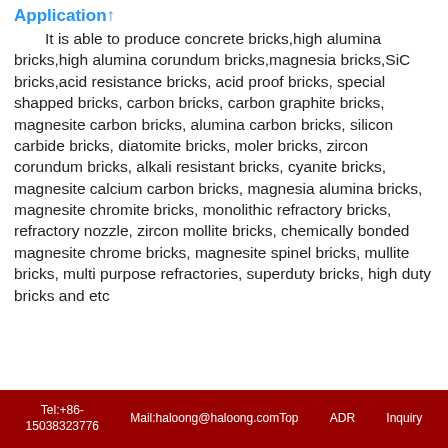Application↑
It is able to produce concrete bricks,high alumina bricks,high alumina corundum bricks,magnesia bricks,SiC bricks,acid resistance bricks, acid proof bricks, special shapped bricks, carbon bricks, carbon graphite bricks, magnesite carbon bricks, alumina carbon bricks, silicon carbide bricks, diatomite bricks, moler bricks, zircon corundum bricks, alkali resistant bricks, cyanite bricks, magnesite calcium carbon bricks, magnesia alumina bricks, magnesite chromite bricks, monolithic refractory bricks, refractory nozzle, zircon mollite bricks, chemically bonded magnesite chrome bricks, magnesite spinel bricks, mullite bricks, multi purpose refractories, superduty bricks, high duty bricks and etc
Tel:+86-15038323776   Mail:haloong@haloong.comTop   ADR   Inquiry